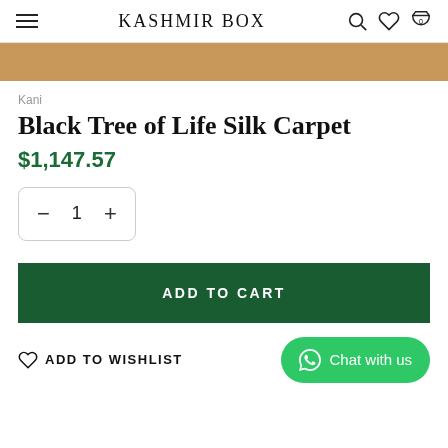KASHMIR BOX
[Figure (screenshot): Gold/tan decorative banner strip]
Kani
Black Tree of Life Silk Carpet
$1,147.57
− 1 +
ADD TO CART
ADD TO WISHLIST
Chat with us